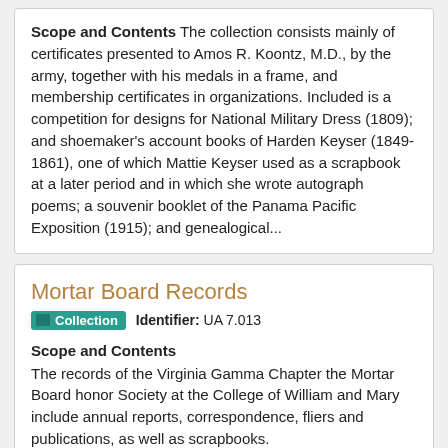Scope and Contents The collection consists mainly of certificates presented to Amos R. Koontz, M.D., by the army, together with his medals in a frame, and membership certificates in organizations. Included is a competition for designs for National Military Dress (1809); and shoemaker's account books of Harden Keyser (1849-1861), one of which Mattie Keyser used as a scrapbook at a later period and in which she wrote autograph poems; a souvenir booklet of the Panama Pacific Exposition (1915); and genealogical...
Mortar Board Records
Collection   Identifier: UA 7.013
Scope and Contents
The records of the Virginia Gamma Chapter the Mortar Board honor Society at the College of William and Mary include annual reports, correspondence, fliers and publications, as well as scrapbooks.